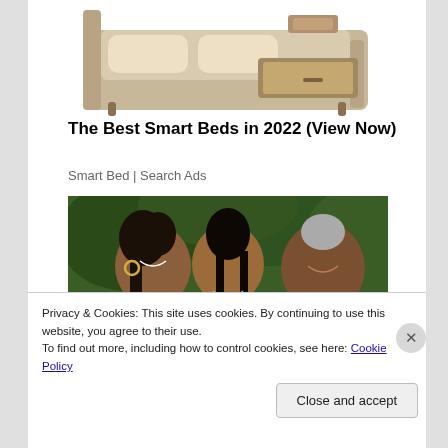[Figure (photo): Partial image of a beige/tan smart bed with a pull-out drawer, shown from above/side angle against a white background]
The Best Smart Beds in 2022 (View Now)
Smart Bed | Search Ads
[Figure (photo): Three people posing together outdoors in front of green foliage — a woman with hoop earrings on the left smiling, a younger woman in the center, and a man on the right smiling]
Privacy & Cookies: This site uses cookies. By continuing to use this website, you agree to their use.
To find out more, including how to control cookies, see here: Cookie Policy
Close and accept